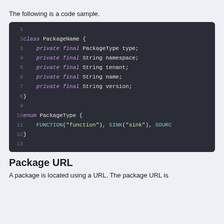The following is a code sample.
[Figure (screenshot): Dark-themed code block showing Java class PackageName with fields type, namespace, tenant, name, version and enum PackageType with FUNCTION, SINK, SOURCE values. Lines 1-13 shown.]
Package URL
A package is located using a URL. The package URL is